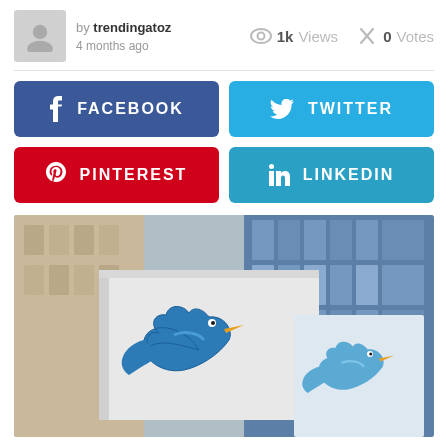by trendingatoz 4 months ago | 1k Views | 0 Votes
[Figure (infographic): Social media share buttons: Facebook, Twitter, Pinterest, LinkedIn]
[Figure (photo): Photograph of Twitter bird logo signs mounted on a building exterior, showing two large 3D Twitter bird logos on white panels with a glass building facade in the background]